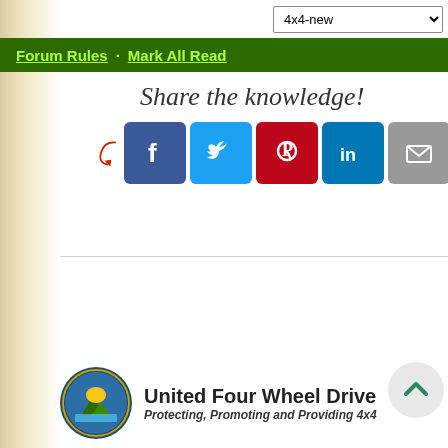4x4-new [dropdown]
Forum Rules · Mark All Read
[Figure (infographic): Share the knowledge! text with red arrow pointing to social media icons: Facebook, Twitter, Pinterest, LinkedIn, Email]
[Figure (logo): United Four Wheel Drive Association circular logo with mountain/tree scene]
United Four Wheel Drive Ass...
Protecting, Promoting and Providing 4x4...